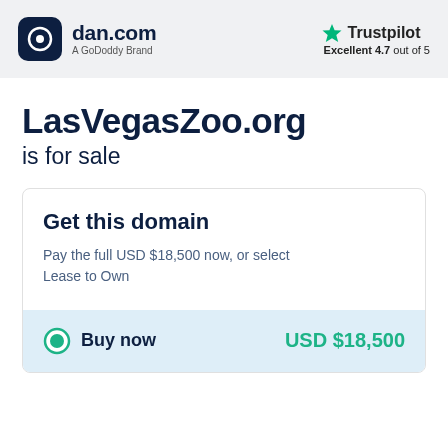dan.com — A GoDoddy Brand | Trustpilot Excellent 4.7 out of 5
LasVegasZoo.org is for sale
Get this domain
Pay the full USD $18,500 now, or select Lease to Own
Buy now   USD $18,500